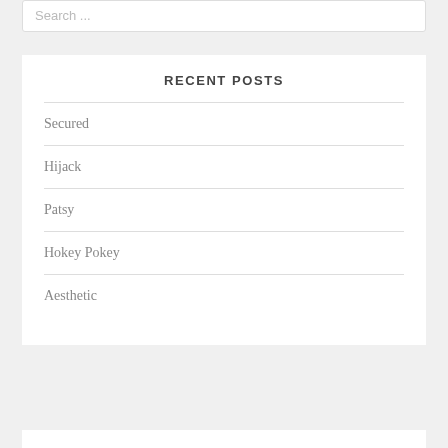Search ...
RECENT POSTS
Secured
Hijack
Patsy
Hokey Pokey
Aesthetic